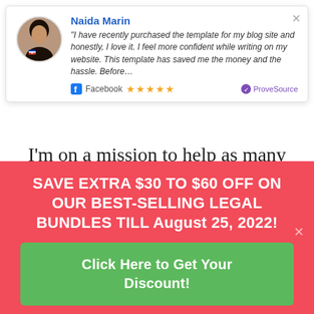[Figure (infographic): Social proof notification card with avatar photo of Naida Marin, name, review quote, Facebook badge with 5 stars, and ProveSource logo]
I'm on a mission to help as many entrepreneurs as possible avoid the agony that my father and our family
SAVE EXTRA $30 TO $60 OFF ON OUR BEST-SELLING LEGAL BUNDLES TILL August 25, 2022!
Click Here to Get Your Discount!